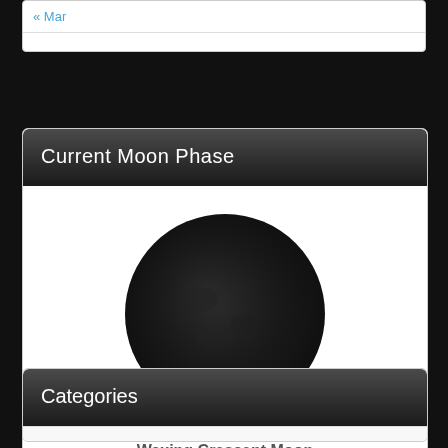« Mar
Current Moon Phase
[Figure (illustration): Dark moon image showing Waxing Crescent Moon phase — mostly dark circular shape on white background]
Waxing Crescent Moon
Joe's
Categories